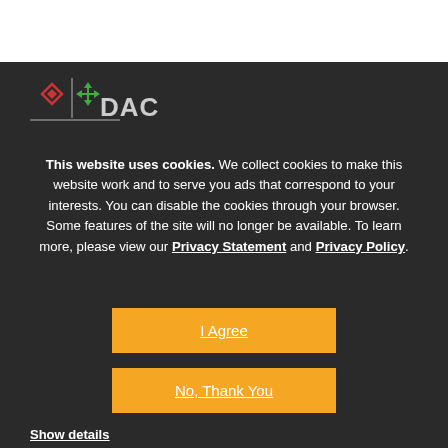[Figure (logo): DAC logo with red diamond and green arrow icons on dark background with horizontal line]
This website uses cookies. We collect cookies to make this website work and to serve you ads that correspond to your interests. You can disable the cookies through your browser. Some features of the site will no longer be available. To learn more, please view our Privacy Statement and Privacy Policy.
I Agree
No, Thank You
Show details